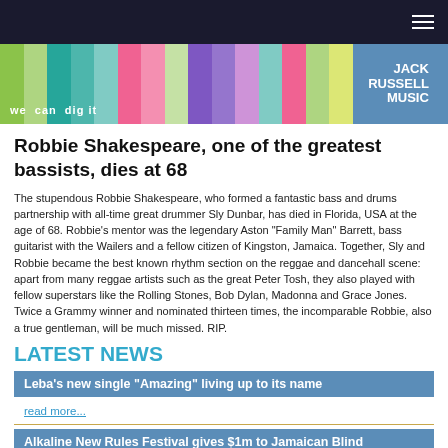Navigation bar with hamburger menu
[Figure (logo): Jack Russell Music logo banner with colorful vertical strips and tagline 'we can dig it']
Robbie Shakespeare, one of the greatest bassists, dies at 68
The stupendous Robbie Shakespeare, who formed a fantastic bass and drums partnership with all-time great drummer Sly Dunbar, has died in Florida, USA at the age of 68. Robbie's mentor was the legendary Aston "Family Man" Barrett, bass guitarist with the Wailers and a fellow citizen of Kingston, Jamaica. Together, Sly and Robbie became the best known rhythm section on the reggae and dancehall scene: apart from many reggae artists such as the great Peter Tosh, they also played with fellow superstars like the Rolling Stones, Bob Dylan, Madonna and Grace Jones. Twice a Grammy winner and nominated thirteen times, the incomparable Robbie, also a true gentleman, will be much missed. RIP.
LATEST NEWS
Leba's new single "Amazing" living up to its name
read more...
Alkaline New Rules Festival gives $1m to Jamaican Blind